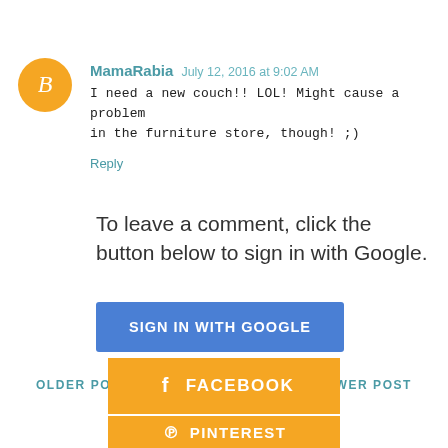MamaRabia  July 12, 2016 at 9:02 AM
I need a new couch!! LOL! Might cause a problem in the furniture store, though! ;)
Reply
To leave a comment, click the button below to sign in with Google.
SIGN IN WITH GOOGLE
OLDER POST   HOME   NEWER POST
[Figure (infographic): Orange Facebook social share button with Facebook icon and text FACEBOOK]
[Figure (infographic): Orange Pinterest social share button with Pinterest icon and text PINTEREST]